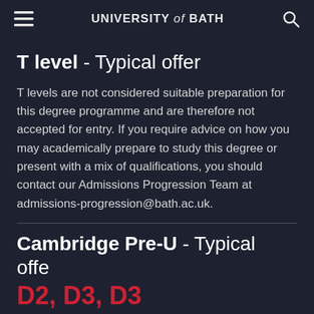UNIVERSITY of BATH
T level - Typical offer
T levels are not considered suitable preparation for this degree programme and are therefore not accepted for entry. If you require advice on how you may academically prepare to study this degree or present with a mix of qualifications, you should contact our Admissions Progression Team at admissions-progression@bath.ac.uk.
Cambridge Pre-U - Typical offer
D2, D3, D3